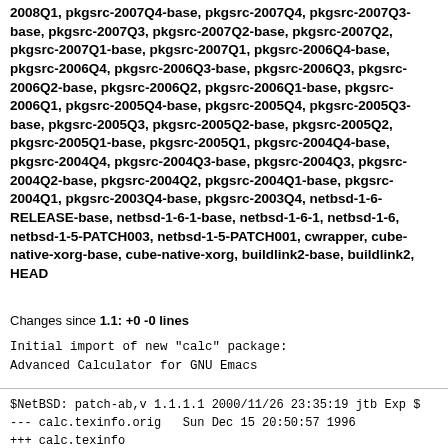2008Q1, pkgsrc-2007Q4-base, pkgsrc-2007Q4, pkgsrc-2007Q3-base, pkgsrc-2007Q3, pkgsrc-2007Q2-base, pkgsrc-2007Q2, pkgsrc-2007Q1-base, pkgsrc-2007Q1, pkgsrc-2006Q4-base, pkgsrc-2006Q4, pkgsrc-2006Q3-base, pkgsrc-2006Q3, pkgsrc-2006Q2-base, pkgsrc-2006Q2, pkgsrc-2006Q1-base, pkgsrc-2006Q1, pkgsrc-2005Q4-base, pkgsrc-2005Q4, pkgsrc-2005Q3-base, pkgsrc-2005Q3, pkgsrc-2005Q2-base, pkgsrc-2005Q2, pkgsrc-2005Q1-base, pkgsrc-2005Q1, pkgsrc-2004Q4-base, pkgsrc-2004Q4, pkgsrc-2004Q3-base, pkgsrc-2004Q3, pkgsrc-2004Q2-base, pkgsrc-2004Q2, pkgsrc-2004Q1-base, pkgsrc-2004Q1, pkgsrc-2003Q4-base, pkgsrc-2003Q4, netbsd-1-6-RELEASE-base, netbsd-1-6-1-base, netbsd-1-6-1, netbsd-1-6, netbsd-1-5-PATCH003, netbsd-1-5-PATCH001, cwrapper, cube-native-xorg-base, cube-native-xorg, buildlink2-base, buildlink2, HEAD
Changes since 1.1: +0 -0 lines
Initial import of new "calc" package:
Advanced Calculator for GNU Emacs
$NetBSD: patch-ab,v 1.1.1.1 2000/11/26 23:35:19 jtb Exp $
--- calc.texinfo.orig   Sun Dec 15 20:50:57 1996
+++ calc.texinfo
@@ -7,6 +7,14 @@